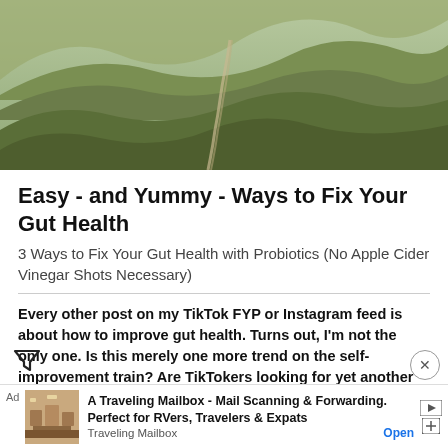[Figure (photo): Aerial view of winding road through green rolling mountain hills]
Easy - and Yummy - Ways to Fix Your Gut Health
3 Ways to Fix Your Gut Health with Probiotics (No Apple Cider Vinegar Shots Necessary)
Every other post on my TikTok FYP or Instagram feed is about how to improve gut health. Turns out, I'm not the only one. Is this merely one more trend on the self-improvement train? Are TikTokers looking for yet another way to biohack themselves? Is this just another attempt at weight loss, disguised as a health necessity?
According to a recent online obse...
Ad  A Traveling Mailbox - Mail Scanning & Forwarding. Perfect for RVers, Travelers & Expats  Traveling Mailbox  Open